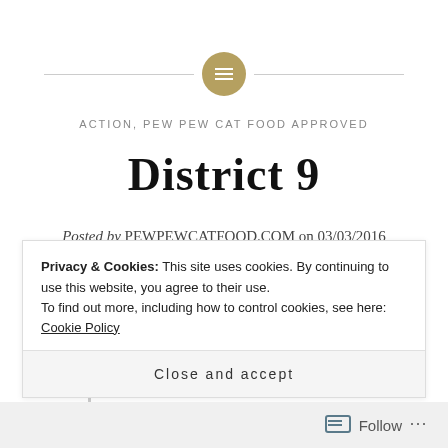[Figure (illustration): Horizontal lines with a gold circle containing a list/menu icon in the center, serving as a decorative header element]
ACTION, PEW PEW CAT FOOD APPROVED
District 9
Posted by PEWPEWCATFOOD.COM on 03/03/2016
SUB-GENRES: Action
DIRECTED BY: Neill Blomkamp
WRITTEN BY: Neill Blomkamp & Terri...
Privacy & Cookies: This site uses cookies. By continuing to use this website, you agree to their use.
To find out more, including how to control cookies, see here: Cookie Policy
Close and accept
Follow